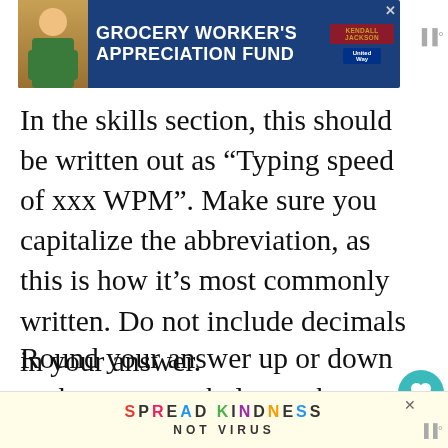[Figure (screenshot): Top banner advertisement for Grocery Worker's Appreciation Fund with Kendall Jackson and United Way logos on dark blue background]
In the skills section, this should be written out as “Typing speed of xxx WPM”. Make sure you capitalize the abbreviation, as this is how it’s most commonly written. Do not include decimals in your answer.
Round your answer up or down to the nearest whole number when including WPM in a resume. You should not use a range of numbers, but rather include a si...
[Figure (screenshot): Bottom advertisement: SPREAD KINDNESS NOT VIRUS in colorful bold text on yellow background]